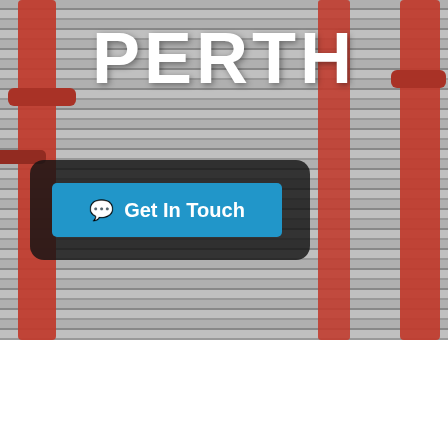[Figure (photo): Hero image of aerial silk performers in front of a building with horizontal louvred facade. Red silk ribbons hang from top to bottom on left and right sides. The text PERTH is overlaid in large white bold letters at the top center. A blue 'Get In Touch' button with chat icon is overlaid on a dark rounded panel in the lower-left of the image.]
PERTH
ENTERTAINMENT AND
By clicking "Allow cookies" you agree to the storing of cookies on your device to enhance browsing experience, analyse site usage and assist with our marketing activity. View Cookie Policy
Western Australia's capital, Perth is the laid-back cousin of Australia's East Coast cities. With its